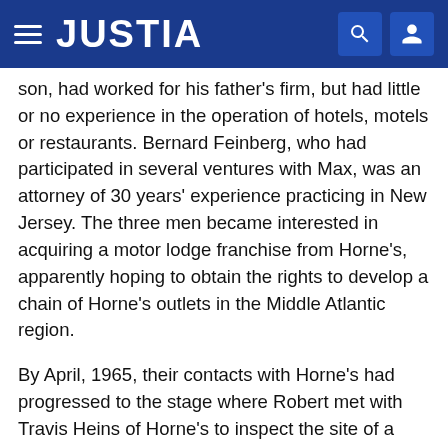JUSTIA
son, had worked for his father's firm, but had little or no experience in the operation of hotels, motels or restaurants. Bernard Feinberg, who had participated in several ventures with Max, was an attorney of 30 years' experience practicing in New Jersey. The three men became interested in acquiring a motor lodge franchise from Horne's, apparently hoping to obtain the rights to develop a chain of Horne's outlets in the Middle Atlantic region.
By April, 1965, their contacts with Horne's had progressed to the stage where Robert met with Travis Heins of Horne's to inspect the site of a projected Horne's motor lodge at Newark, Delaware where Horne's already had a restaurant in operation. Robert expressed some reservations concerning Horne's desire to erect a 100-unit motel because of the poor visibility of the site from Interstate Highway 95 and considered that